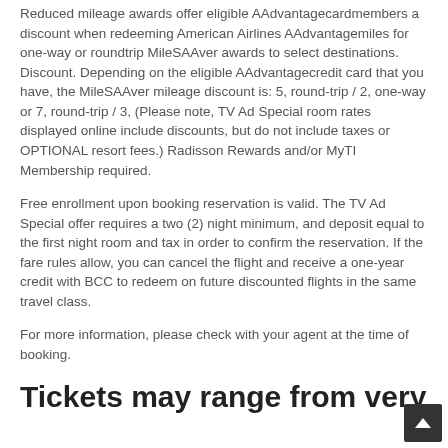Reduced mileage awards offer eligible AAdvantagecardmembers a discount when redeeming American Airlines AAdvantagemiles for one-way or roundtrip MileSAAver awards to select destinations. Discount. Depending on the eligible AAdvantagecredit card that you have, the MileSAAver mileage discount is: 5, round-trip / 2, one-way or 7, round-trip / 3, (Please note, TV Ad Special room rates displayed online include discounts, but do not include taxes or OPTIONAL resort fees.) Radisson Rewards and/or MyTI Membership required.
Free enrollment upon booking reservation is valid. The TV Ad Special offer requires a two (2) night minimum, and deposit equal to the first night room and tax in order to confirm the reservation. If the fare rules allow, you can cancel the flight and receive a one-year credit with BCC to redeem on future discounted flights in the same travel class.
For more information, please check with your agent at the time of booking.
Tickets may range from very